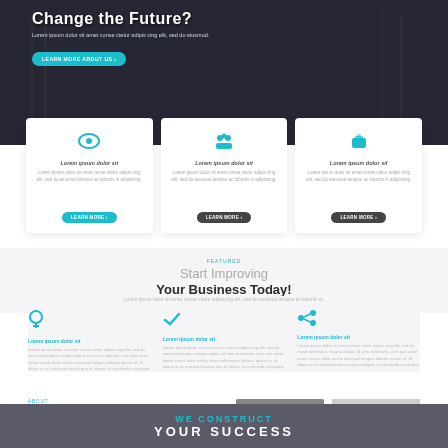[Figure (screenshot): Hero banner with dark overlay showing text 'Change the Future?' with subtitle lorem ipsum text and a teal 'Learn More About Us' button, plus pagination dots]
[Figure (infographic): Three white cards with teal icons (eye, people, briefcase), each with 'Lorem ipsum dolor sit' heading, body text, and 'Learn More' buttons]
Start Improving Your Business Today!
Lorem ipsum dolor sit amet, conse ctetur adipiscing elit, sed do eiusmod tempus ac lobortis ut.
[Figure (infographic): Three column feature section with teal icons (lightbulb, thumbsup, share), each with 'Lorem ipsum dolor sit' heading and lorem ipsum body text]
[Figure (screenshot): About section strip with 'ABOUT' label, 'Start' title text, and two placeholder images]
[Figure (infographic): Bottom dark gray banner with 'WE CONSTRUCT' in teal and 'YOUR SUCCESS' in white bold uppercase text]